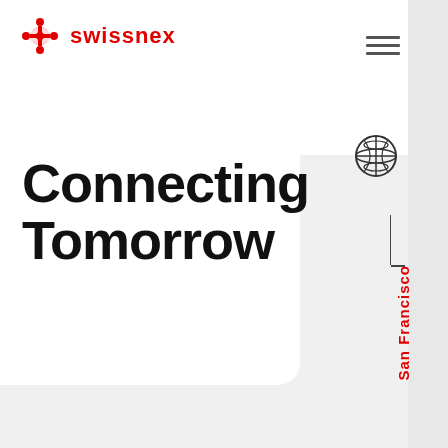[Figure (logo): Swissnex logo with red gear/snowflake icon and red 'swissnex' text]
Connecting Tomorrow
[Figure (illustration): Globe/world icon with grid lines, dark grey outline]
San Francisco